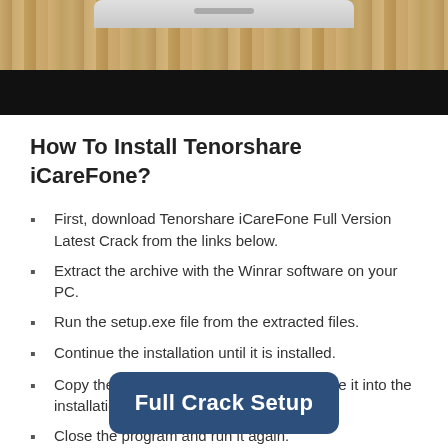[Figure (photo): Top portion of a smartphone on a wooden table surface, showing the phone bezel with speaker at top, and a dark/black screen area below.]
How To Install Tenorshare iCareFone?
First, download Tenorshare iCareFone Full Version Latest Crack from the links below.
Extract the archive with the Winrar software on your PC.
Run the setup.exe file from the extracted files.
Continue the installation until it is installed.
Copy the crack from the crack file and paste it into the installation directory.
Close the program and run it again.
Full Crack Setup